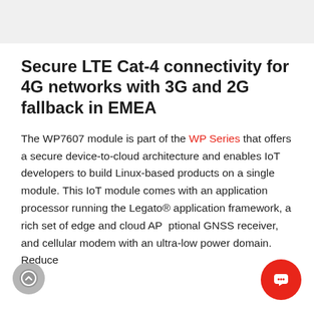Secure LTE Cat-4 connectivity for 4G networks with 3G and 2G fallback in EMEA
The WP7607 module is part of the WP Series that offers a secure device-to-cloud architecture and enables IoT developers to build Linux-based products on a single module. This IoT module comes with an application processor running the Legato® application framework, a rich set of edge and cloud AP… ptional GNSS receiver, and cellular modem… with an ultra-low power domain. Reduce…